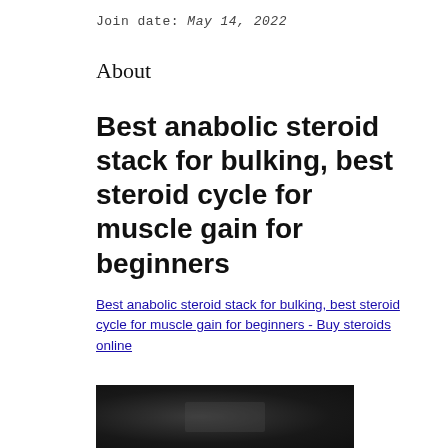Join date: May 14, 2022
About
Best anabolic steroid stack for bulking, best steroid cycle for muscle gain for beginners
Best anabolic steroid stack for bulking, best steroid cycle for muscle gain for beginners - Buy steroids online
[Figure (photo): Dark blurred image, appears to be a gym or fitness related photograph]